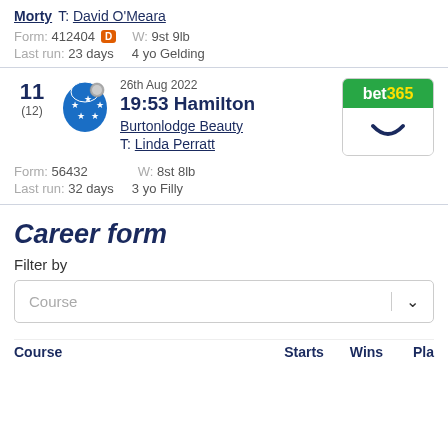Morty   T: David O'Meara
Form: 412404 D   W: 9st 9lb   Last run: 23 days   4yo Gelding
11 (12)   26th Aug 2022   19:53 Hamilton   Burtonlodge Beauty   T: Linda Perratt   Form: 56432   W: 8st 8lb   Last run: 32 days   3yo Filly
Career form
Filter by
Course
| Course | Starts | Wins | Pla |
| --- | --- | --- | --- |